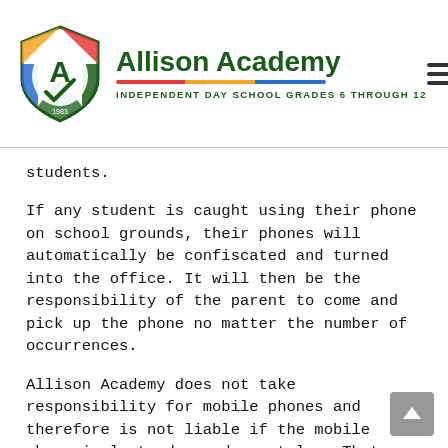[Figure (logo): Allison Academy shield logo with letter A and checkmark, colored stripes in red, yellow, blue, green, with year 1983]
Allison Academy
INDEPENDENT DAY SCHOOL GRADES 6 THROUGH 12
students.
If any student is caught using their phone on school grounds, their phones will automatically be confiscated and turned into the office. It will then be the responsibility of the parent to come and pick up the phone no matter the number of occurrences.
Allison Academy does not take responsibility for mobile phones and therefore is not liable if the mobile phone is lost, damaged or stolen. That responsibility lies with the student.
Article 62
Audio and video cameras are installed in all public areas of the building, and on the exterior. The cameras are for the purpose of security and will only be